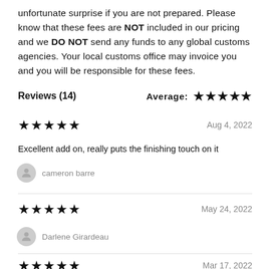unfortunate surprise if you are not prepared. Please know that these fees are NOT included in our pricing and we DO NOT send any funds to any global customs agencies. Your local customs office may invoice you and you will be responsible for these fees.
Reviews (14)    Average: ★★★★★
★★★★★   Aug 4, 2022
Excellent add on, really puts the finishing touch on it
cameron barre
★★★★★   May 24, 2022
Darlene Girardeau
★★★★★   Mar 17, 2022